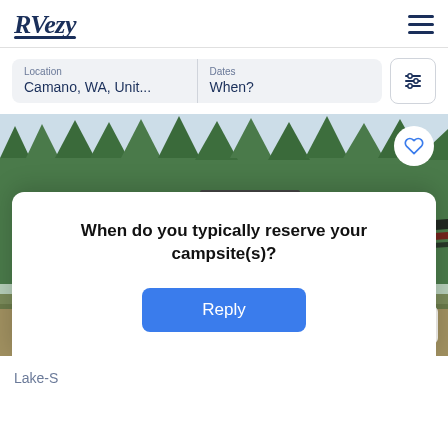RVezy
Location
Camano, WA, Unit...
Dates
When?
[Figure (photo): RV trailer (fifth wheel) with white body and dark maroon/charcoal graphic decals, parked outdoors in front of a row of evergreen trees. A heart/favorite button is visible in the upper right of the image and a chevron button at the lower right.]
When do you typically reserve your campsite(s)?
Reply
Lake-S